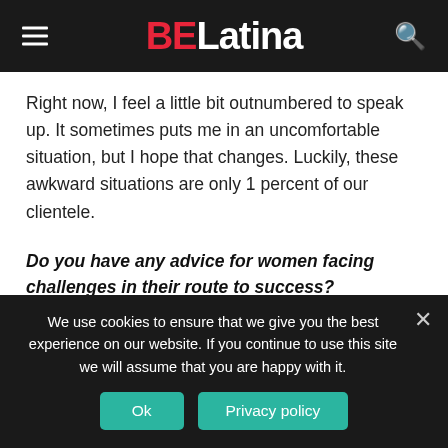BELatina
Right now, I feel a little bit outnumbered to speak up. It sometimes puts me in an uncomfortable situation, but I hope that changes. Luckily, these awkward situations are only 1 percent of our clientele.
Do you have any advice for women facing challenges in their route to success?
I think that women will always face obstacles, but I would
We use cookies to ensure that we give you the best experience on our website. If you continue to use this site we will assume that you are happy with it.